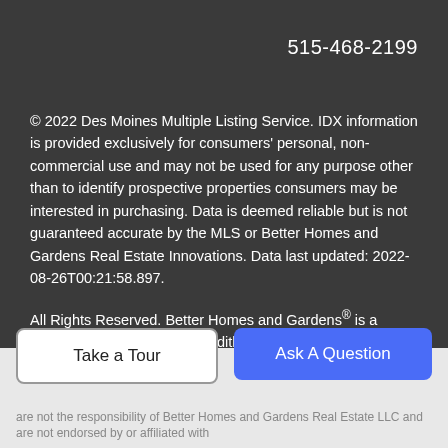515-468-2199
© 2022 Des Moines Multiple Listing Service. IDX information is provided exclusively for consumers' personal, non-commercial use and may not be used for any purpose other than to identify prospective properties consumers may be interested in purchasing. Data is deemed reliable but is not guaranteed accurate by the MLS or Better Homes and Gardens Real Estate Innovations. Data last updated: 2022-08-26T00:21:58.897.
All Rights Reserved. Better Homes and Gardens® is a registered trademark of Meredith Corporation licensed to Better Homes and Gardens Real Estate LLC. An Equal Opportunity Company. Equal Housing Opportunity. Each Better Homes and Gardens Real Estate office is independently owned and operated. Any services or products provided by independently owned and operated
Take a Tour
Ask A Question